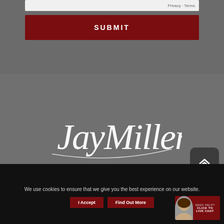Privacy - Terms
SUBMIT
[Figure (logo): JayMiller.ca cursive/script logo in white on gray background]
QUICK LINKS
We use cookies to ensure that we give you the best experience on our website.
I Accept
Find Out More
[Figure (infographic): Need Help? Click to Live Chat button with avatar]